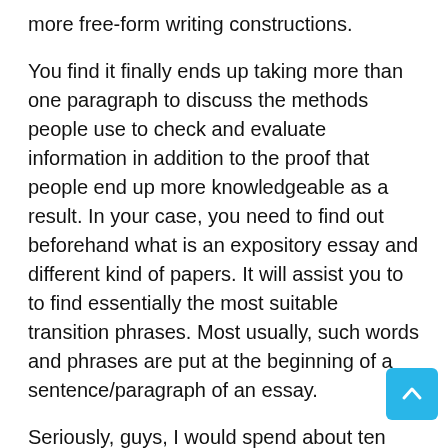more free-form writing constructions.
You find it finally ends up taking more than one paragraph to discuss the methods people use to check and evaluate information in addition to the proof that people end up more knowledgeable as a result. In your case, you need to find out beforehand what is an expository essay and different kind of papers. It will assist you to to find essentially the most suitable transition phrases. Most usually, such words and phrases are put at the beginning of a sentence/paragraph of an essay.
Seriously, guys, I would spend about ten minutes per essay. I marked every little error, I made notes for enchancment and notes of encouragement. Be prepared to get down to writing quickly in case you are given an in-class project. This isnât an assignment that will stre… over a number of class periods. Chances are, youâll…